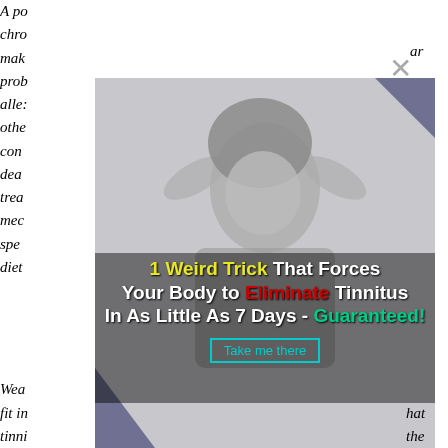A person with tinnitus who has chronically high blood sugar may make it difficult with blood flow problems and infections. Stress, dehydration, allergies, excess caffeine, or many other factors to name a few. Depression, concentration difficulties, reading problems, dealing with the constant sound, treatment options including yoga, meditation, sound therapy, special hearing aids, dietary changes, or therapy
[Figure (screenshot): Advertisement overlay showing a woman covering her ears with text: '1 Weird Trick That Forces Your Body to Eliminate Tinnitus In As Little As 7 Days - Guaranteed!' and a 'Take me there' button. An X close button appears in top right.]
Wearing ear protection and avoiding that noise is going to help. It fit in with my overall plan to treat the tinnitus...